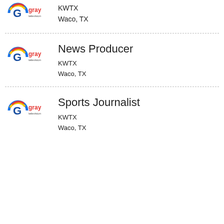KWTX
Waco, TX
News Producer
KWTX
Waco, TX
Sports Journalist
KWTX
Waco, TX